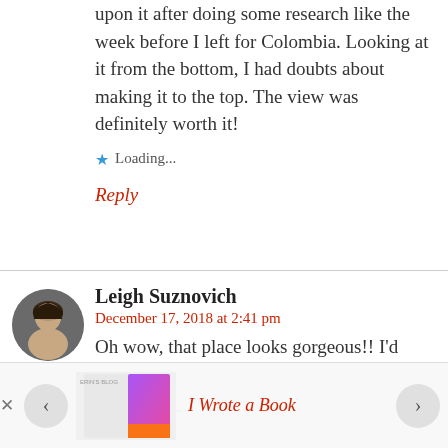upon it after doing some research like the week before I left for Colombia. Looking at it from the bottom, I had doubts about making it to the top. The view was definitely worth it!
Loading...
Reply
Leigh Suznovich
December 17, 2018 at 2:41 pm
Oh wow, that place looks gorgeous!! I'd have trouble with the heights at the top but I could do it for that view.
I Wrote a Book